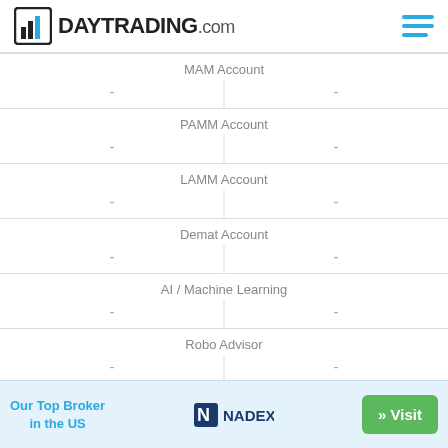DAYTRADING.com
|  | MAM Account |  |
| --- | --- | --- |
| – |  | – |
|  | PAMM Account |  |
| --- | --- | --- |
| – |  | – |
|  | LAMM Account |  |
| --- | --- | --- |
| – |  | – |
|  | Demat Account |  |
| --- | --- | --- |
| – |  | – |
|  | AI / Machine Learning |  |
| --- | --- | --- |
| – |  | – |
|  | Robo Advisor |  |
| --- | --- | --- |
| – |  | – |
Our Top Broker in the US  NADEX  » Visit